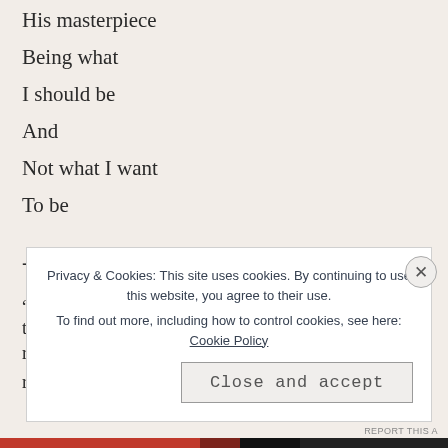His masterpiece
Being what
I should be
And
Not what I want
To be
-Yellowbonewonda
“All Rights Reserved: The copyright holder retains all the r ... r ...
Privacy & Cookies: This site uses cookies. By continuing to use this website, you agree to their use. To find out more, including how to control cookies, see here: Cookie Policy
Close and accept